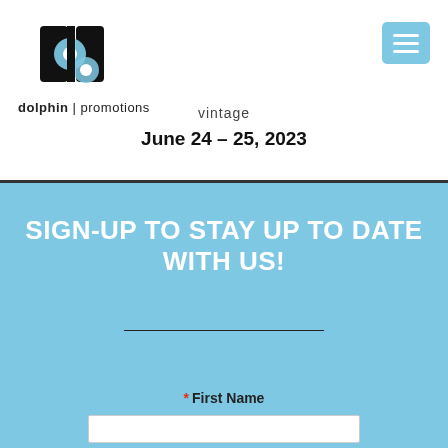[Figure (logo): Dolphin Promotions logo with stylized 'd' and 'p' letters in black with blue circle, and text 'dolphin promotions' below]
[Figure (other): Blue hamburger menu button with three white horizontal lines]
vintage
June 24 – 25, 2023
SIGN-UP TO STAY UP TO DATE WITH US!
* First Name